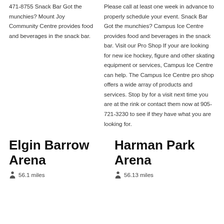471-8755 Snack Bar Got the munchies? Mount Joy Community Centre provides food and beverages in the snack bar.
Please call at least one week in advance to properly schedule your event. Snack Bar Got the munchies? Campus Ice Centre provides food and beverages in the snack bar. Visit our Pro Shop If your are looking for new ice hockey, figure and other skating equipment or services, Campus Ice Centre can help. The Campus Ice Centre pro shop offers a wide array of products and services. Stop by for a visit next time you are at the rink or contact them now at 905-721-3230 to see if they have what you are looking for.
Elgin Barrow Arena
56.1 miles
Harman Park Arena
56.13 miles